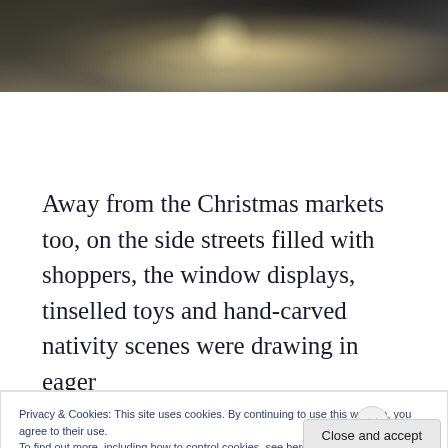[Figure (photo): A dark, rainy street or alley scene with reflective wet pavement and bright light in the distance, viewed at an angle. Green foliage visible on the right edge.]
Away from the Christmas markets too, on the side streets filled with shoppers, the window displays, tinselled toys and hand-carved nativity scenes were drawing in eager
Privacy & Cookies: This site uses cookies. By continuing to use this website, you agree to their use.
To find out more, including how to control cookies, see here: Cookie Policy
Close and accept